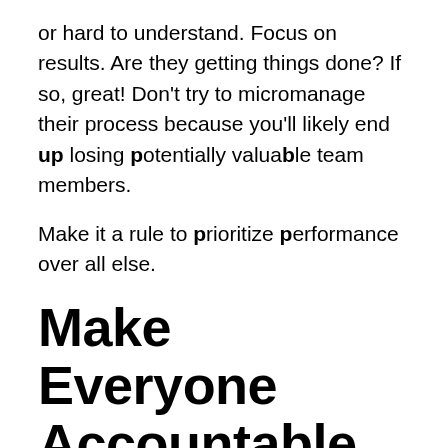or hard to understand. Focus on results. Are they getting things done? If so, great! Don't try to micromanage their process because you'll likely end up losing potentially valuable team members.
Make it a rule to prioritize performance over all else.
Make Everyone Accountable
When you're starting up, accountability is extremely important. You don't want people taking work lightly. Make sure all employees,